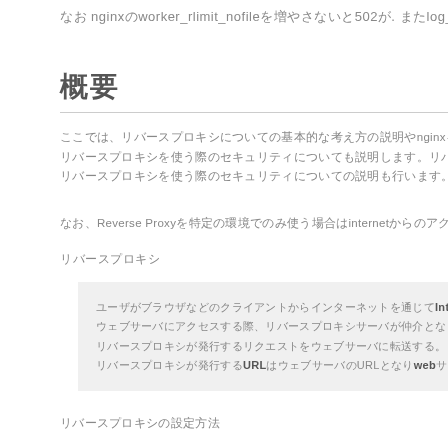なお nginxのworker_rlimit_nofileを増やさないと502が. またlog_for
概要
ここでは、リバースプロキシについての基本的な考え方の説明やnginxを使用した場合のリバースプロキシの設定方法について説明します。リバースプロキシを使う目的は ()
リバースプロキシを使う際のセキュリティについての説明も行います。
なお、Reverse Proxyを特定の環境でのみ使う場合はinternetからのアクセスについてのセキュリティ
リバースプロキシ
ユーザがブラウザなどのクライアントからInternetを通じて
ウェブサーバにアクセスする際、リバースプロキシサーバが仲介となり
リクエストをウェブサーバに転送する。
リバースプロキシが発行するURLはウェブサーバのURLとwebサーバのweb
リバースプロキシの設定方法